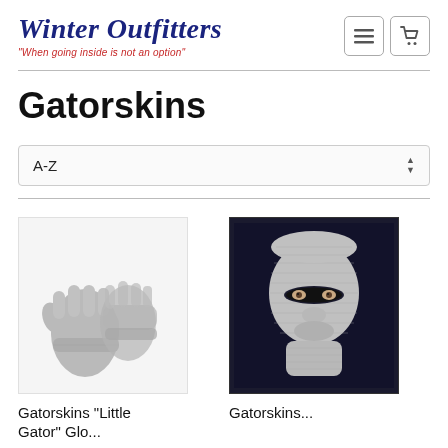[Figure (logo): Winter Outfitters logo with tagline 'When going inside is not an option' in red italic text below the cursive navy logo]
Gatorskins
A-Z (sort dropdown)
[Figure (photo): Gray fleece gloves product photo on white background]
[Figure (photo): Gray knit balaclava/ski mask on mannequin head, dark background]
Gatorskins "Little Gator" Glo...
Gatorskins...